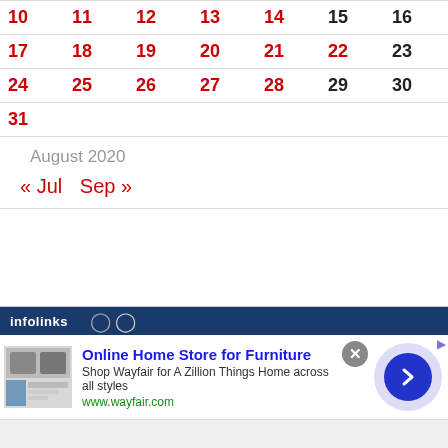| Sun | Mon | Tue | Wed | Thu | Fri | Sat |
| --- | --- | --- | --- | --- | --- | --- |
| 10 | 11 | 12 | 13 | 14 | 15 | 16 |
| 17 | 18 | 19 | 20 | 21 | 22 | 23 |
| 24 | 25 | 26 | 27 | 28 | 29 | 30 |
| 31 |  |  |  |  |  |  |
August 2020
« Jul   Sep »
[Figure (other): Infolinks advertisement bar with Wayfair furniture ad showing kitchen appliances image, title 'Online Home Store for Furniture', description text, www.wayfair.com URL, and a navigation arrow button]